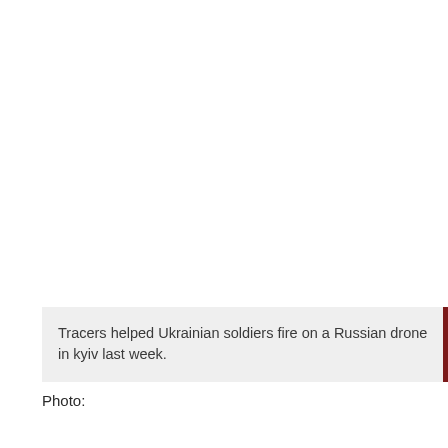[Figure (photo): A photo area (white/blank) occupying the upper portion of the page, depicting Ukrainian soldiers firing on a Russian drone in Kyiv.]
Tracers helped Ukrainian soldiers fire on a Russian drone in kyiv last week.
Photo: